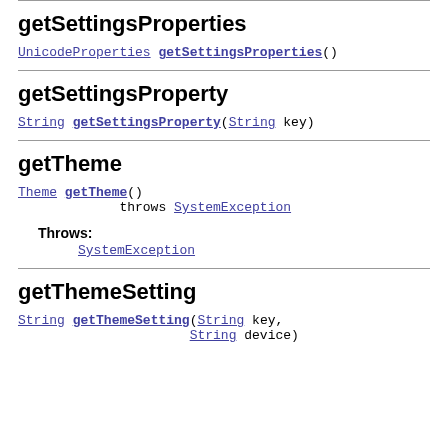getSettingsProperties
UnicodeProperties getSettingsProperties()
getSettingsProperty
String getSettingsProperty(String key)
getTheme
Theme getTheme()
        throws SystemException
Throws:
    SystemException
getThemeSetting
String getThemeSetting(String key,
              String device)